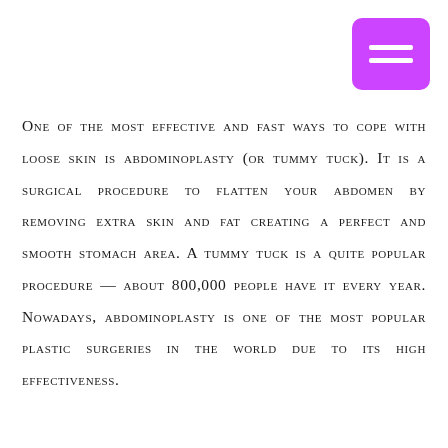[Figure (other): Purple/magenta hamburger menu button icon in top-right corner with two white horizontal bars]
One of the most effective and fast ways to cope with loose skin is abdominoplasty (or tummy tuck). It is a surgical procedure to flatten your abdomen by removing extra skin and fat creating a perfect and smooth stomach area. A tummy tuck is a quite popular procedure — about 800,000 people have it every year. Nowadays, abdominoplasty is one of the most popular plastic surgeries in the world due to its high effectiveness.